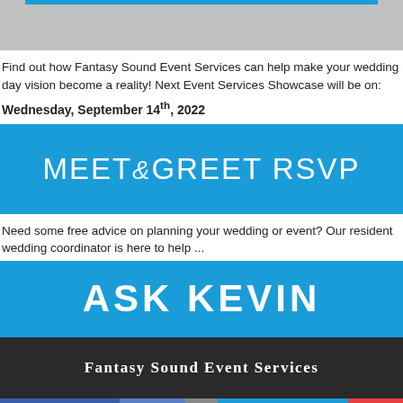[Figure (other): Gray header banner with blue accent bar at top]
Find out how Fantasy Sound Event Services can help make your wedding day vision become a reality! Next Event Services Showcase will be on:
Wednesday, September 14th, 2022
[Figure (other): Blue banner with white text reading MEET & GREET RSVP]
Need some free advice on planning your wedding or event? Our resident wedding coordinator is here to help ...
[Figure (other): Blue banner with white bold text reading ASK KEVIN]
Fantasy Sound Event Services